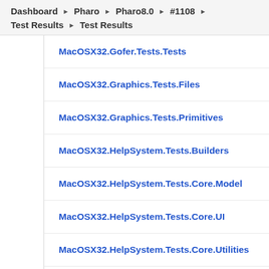Dashboard ▶ Pharo ▶ Pharo8.0 ▶ #1108 ▶ Test Results ▶ Test Results
MacOSX32.Gofer.Tests.Tests
MacOSX32.Graphics.Tests.Files
MacOSX32.Graphics.Tests.Primitives
MacOSX32.HelpSystem.Tests.Builders
MacOSX32.HelpSystem.Tests.Core.Model
MacOSX32.HelpSystem.Tests.Core.UI
MacOSX32.HelpSystem.Tests.Core.Utilities